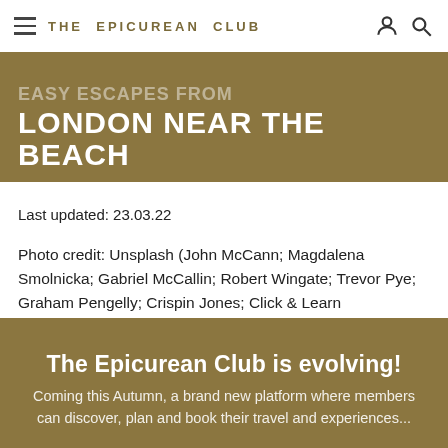THE EPICUREAN CLUB
EASY ESCAPES FROM LONDON NEAR THE BEACH
Last updated: 23.03.22
Photo credit: Unsplash (John McCann; Magdalena Smolnicka; Gabriel McCallin; Robert Wingate; Trevor Pye; Graham Pengelly; Crispin Jones; Click & Learn Photography)
The Epicurean Club is evolving!
Coming this Autumn, a brand new platform where members can discover, plan and book their travel and experiences...